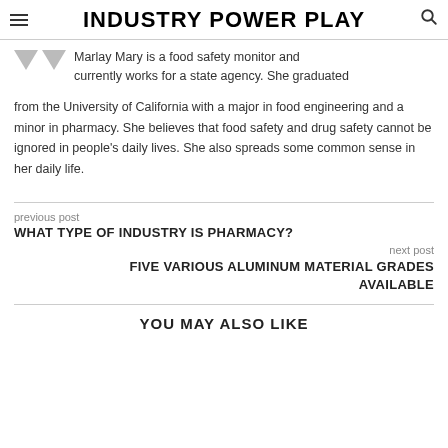INDUSTRY POWER PLAY
Marlay Mary is a food safety monitor and currently works for a state agency. She graduated from the University of California with a major in food engineering and a minor in pharmacy. She believes that food safety and drug safety cannot be ignored in people's daily lives. She also spreads some common sense in her daily life.
previous post
WHAT TYPE OF INDUSTRY IS PHARMACY?
next post
FIVE VARIOUS ALUMINUM MATERIAL GRADES AVAILABLE
YOU MAY ALSO LIKE